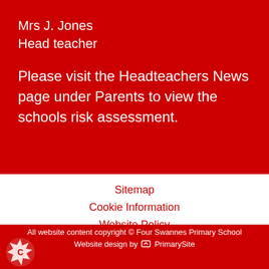Mrs J. Jones
Head teacher
Please visit the Headteachers News page under Parents to view the schools risk assessment.
Sitemap
Cookie Information
Website Policy
All website content copyright © Four Swannes Primary School
Website design by PrimarySite